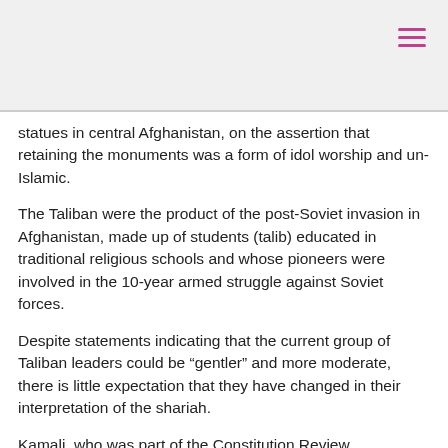statues in central Afghanistan, on the assertion that retaining the monuments was a form of idol worship and un-Islamic.
The Taliban were the product of the post-Soviet invasion in Afghanistan, made up of students (talib) educated in traditional religious schools and whose pioneers were involved in the 10-year armed struggle against Soviet forces.
Despite statements indicating that the current group of Taliban leaders could be “gentler” and more moderate, there is little expectation that they have changed in their interpretation of the shariah.
Kamali, who was part of the Constitution Review Commission of Afghanistan in 2003 and a consultant appointed by the United Nations on constitutional reforms in the country, said while the world could expect differences in terms of approach and administration, the group’s basic ideology, especially on Islam and shariah, remained the same.